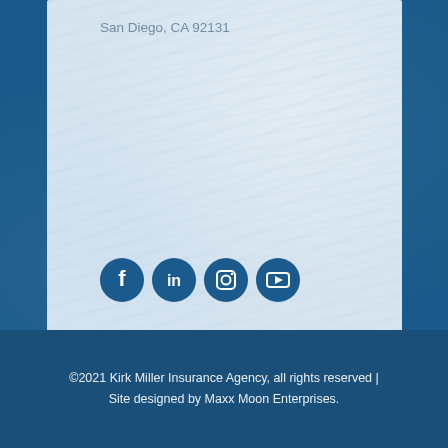San Diego, CA 92131
[Figure (other): Four social media icon buttons (Facebook, LinkedIn, Instagram, YouTube) displayed as dark blue circles with white icons]
©2021 Kirk Miller Insurance Agency, all rights reserved | Site designed by Maxx Moon Enterprises.